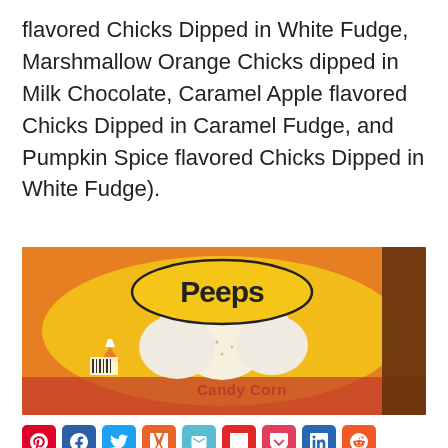flavored Chicks Dipped in White Fudge, Marshmallow Orange Chicks dipped in Milk Chocolate, Caramel Apple flavored Chicks Dipped in Caramel Fudge, and Pumpkin Spice flavored Chicks Dipped in White Fudge).
[Figure (photo): Close-up photo of a Peeps Candy Corn flavored marshmallow chicks package in orange and yellow packaging, with white marshmallow chick shapes visible inside.]